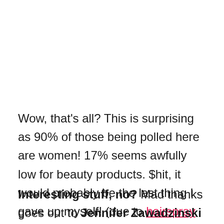Wow, that's all? This is surprising as 90% of those being polled here are women! 17% seems awfully low for beauty products. $hit, it would probably be the last thing I gave up myself! (due to hairspray & blow dryer only – no makeup or anything, I have a 'hawk not a dress)
Interesting stuff, no? Mad thanks goes out to Jennifer Zawadzinski for bringing this to my